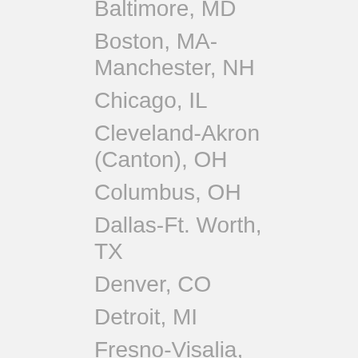Baltimore, MD
Boston, MA-Manchester, NH
Chicago, IL
Cleveland-Akron (Canton), OH
Columbus, OH
Dallas-Ft. Worth, TX
Denver, CO
Detroit, MI
Fresno-Visalia, CA
Ft. Myers-Naples, FL
Grand Rapids-Kalamazoo, MI
Houston, TX
Huntsville-Decatur (Florence), AL
Jacksonville, FL
Los Angeles, CA